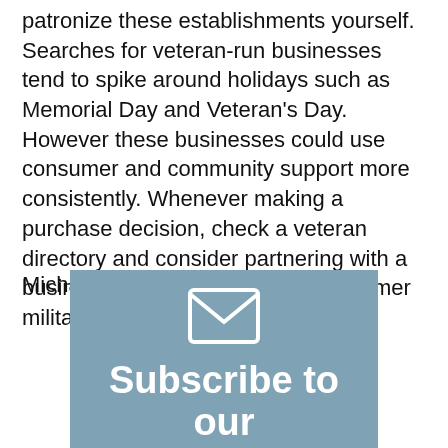patronize these establishments yourself. Searches for veteran-run businesses tend to spike around holidays such as Memorial Day and Veteran's Day. However these businesses could use consumer and community support more consistently. Whenever making a purchase decision, check a veteran directory and consider partnering with a business owned by or employing former military members.
Michael Alexis, TeamBuilding
[Figure (infographic): A blue-grey subscription banner with an envelope icon at the top and bold white text reading 'Subscribe to our' below it.]